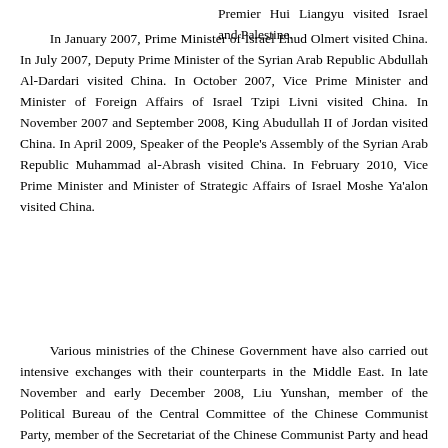Premier Hui Liangyu visited Israel and Palestine.
In January 2007, Prime Minister of Israel Ehud Olmert visited China. In July 2007, Deputy Prime Minister of the Syrian Arab Republic Abdullah Al-Dardari visited China. In October 2007, Vice Prime Minister and Minister of Foreign Affairs of Israel Tzipi Livni visited China. In November 2007 and September 2008, King Abudullah II of Jordan visited China. In April 2009, Speaker of the People's Assembly of the Syrian Arab Republic Muhammad al-Abrash visited China. In February 2010, Vice Prime Minister and Minister of Strategic Affairs of Israel Moshe Ya'alon visited China.
Various ministries of the Chinese Government have also carried out intensive exchanges with their counterparts in the Middle East. In late November and early December 2008, Liu Yunshan, member of the Political Bureau of the Central Committee of the Chinese Communist Party, member of the Secretariat of the Chinese Communist Party and head of the Publicity Department of the Central Committee, visited Egypt, Palestine and Israel. In April and September 2009,